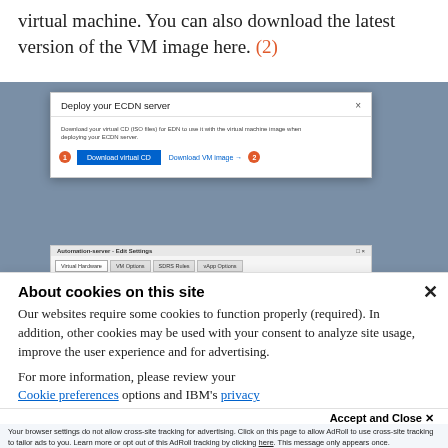virtual machine. You can also download the latest version of the VM image here. (2)
[Figure (screenshot): Screenshot of a web UI showing a 'Deploy your ECDN server' modal dialog with 'Download virtual CD' button (labeled step 1) and 'Download VM image' link (labeled step 2), and a VM settings panel below.]
About cookies on this site
Our websites require some cookies to function properly (required). In addition, other cookies may be used with your consent to analyze site usage, improve the user experience and for advertising.
For more information, please review your Cookie preferences options and IBM's privacy statement.
Accept and Close ×
Your browser settings do not allow cross-site tracking for advertising. Click on this page to allow AdRoll to use cross-site tracking to tailor ads to you. Learn more or opt out of this AdRoll tracking by clicking here. This message only appears once.